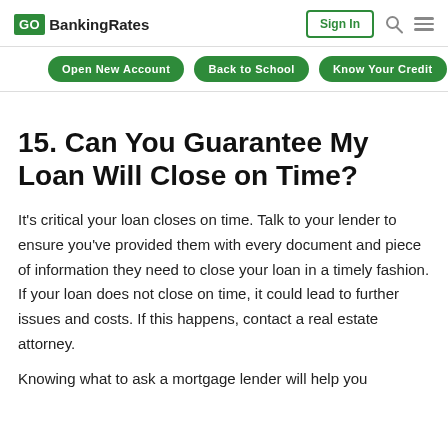GOBankingRates | Sign In
Open New Account | Back to School | Know Your Credit
15. Can You Guarantee My Loan Will Close on Time?
It’s critical your loan closes on time. Talk to your lender to ensure you’ve provided them with every document and piece of information they need to close your loan in a timely fashion. If your loan does not close on time, it could lead to further issues and costs. If this happens, contact a real estate attorney.
Knowing what to ask a mortgage lender will help you